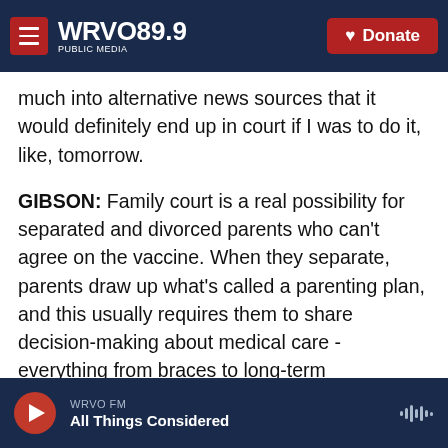WRVO PUBLIC MEDIA 89.9 | Donate
much into alternative news sources that it would definitely end up in court if I was to do it, like, tomorrow.
GIBSON: Family court is a real possibility for separated and divorced parents who can't agree on the vaccine. When they separate, parents draw up what's called a parenting plan, and this usually requires them to share decision-making about medical care - everything from braces to long-term medications to vaccines. Amy Connolly practices and teaches family law. She worries that with such heated disagreements over the COVID vaccine,
WRVO FM | All Things Considered